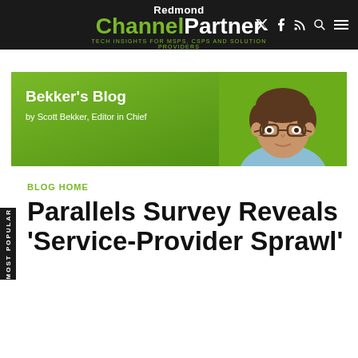Redmond Channel Partner — TECH INSIGHTS FOR MSPS, CSPS AND SOLUTION PROVIDERS
[Figure (photo): Blog banner with green background showing 'Bekker's Blog by Scott Bekker, Editor in Chief' and a photo of a man with glasses wearing a light blue shirt]
BLOG HOME
Parallels Survey Reveals 'Service-Provider Sprawl'